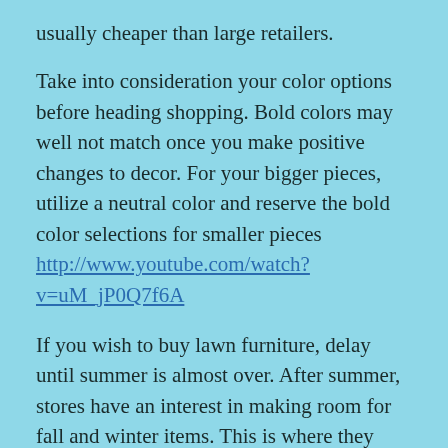usually cheaper than large retailers.
Take into consideration your color options before heading shopping. Bold colors may well not match once you make positive changes to decor. For your bigger pieces, utilize a neutral color and reserve the bold color selections for smaller pieces http://www.youtube.com/watch?v=uM_jP0Q7f6A
If you wish to buy lawn furniture, delay until summer is almost over. After summer, stores have an interest in making room for fall and winter items. This is where they slash prices dramatically.